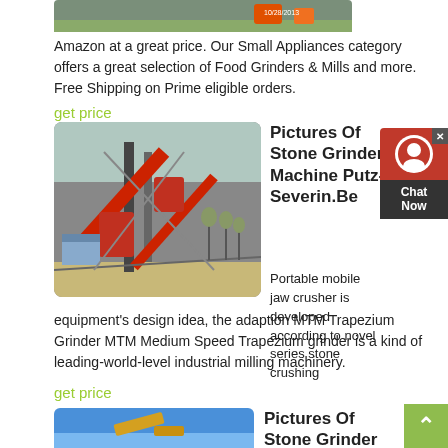[Figure (photo): Top partial image of an outdoor scene with construction equipment]
Amazon at a great price. Our Small Appliances category offers a great selection of Food Grinders & Mills and more. Free Shipping on Prime eligible orders.
get price
[Figure (photo): Industrial stone crusher / grinding machine with red structure and conveyor belts on outdoor site]
Pictures Of Stone Grinder Machine Putz-Severin.Be
Portable mobile jaw crusher is developed according to novel series stone crushing equipment's design idea, the adaption MTM Trapezium Grinder MTM Medium Speed Trapezium grinder is a kind of leading-world-level industrial milling machinery.
get price
[Figure (photo): Partial bottom image showing yellow construction equipment against blue sky]
Pictures Of Stone Grinder Machine